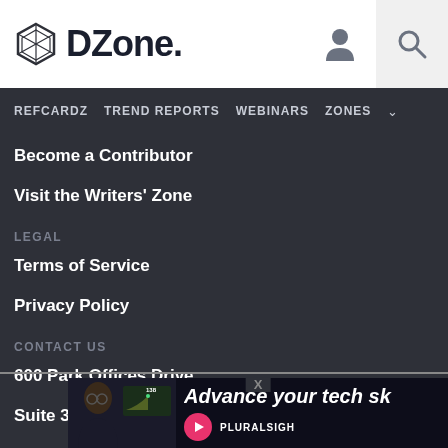DZone.
REFCARDZ  TREND REPORTS  WEBINARS  ZONES
Become a Contributor
Visit the Writers' Zone
LEGAL
Terms of Service
Privacy Policy
CONTACT US
600 Park Offices Drive
Suite 300
Du
su
+1
[Figure (screenshot): Ad overlay showing a person with glasses in front of a monitor displaying a chart with '138', text 'Advance your tech sh', and Pluralsight logo/branding]